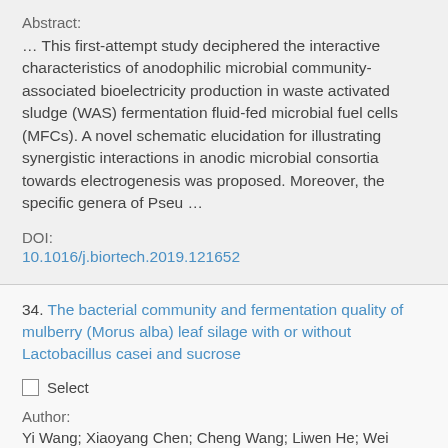Abstract:
… This first-attempt study deciphered the interactive characteristics of anodophilic microbial community-associated bioelectricity production in waste activated sludge (WAS) fermentation fluid-fed microbial fuel cells (MFCs). A novel schematic elucidation for illustrating synergistic interactions in anodic microbial consortia towards electrogenesis was proposed. Moreover, the specific genera of Pseu …
DOI:
10.1016/j.biortech.2019.121652
34. The bacterial community and fermentation quality of mulberry (Morus alba) leaf silage with or without Lactobacillus casei and sucrose
Select
Author:
Yi Wang; Xiaoyang Chen; Cheng Wang; Liwen He; Wei Zhou;